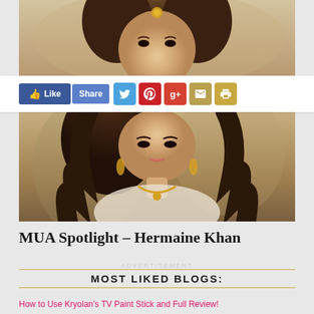[Figure (photo): Photo of a woman (Hermaine Khan) in traditional South Asian bridal/formal attire with gold jewelry and hair styled in waves — upper portion showing face/head]
[Figure (infographic): Social sharing bar with Facebook Like, Share, Twitter, Pinterest, Google+, Email, and Print buttons]
[Figure (photo): Photo of a woman (Hermaine Khan) in traditional South Asian bridal/formal attire with gold jewelry and curly hair — lower portion]
MUA Spotlight – Hermaine Khan
ADVERTISEMENT
MOST LIKED BLOGS:
How to Use Kryolan's TV Paint Stick and Full Review!
JoyFul Moments with New Escada Joyful Parfum
Max Factor Whipped Cream Foundation Review
Desi Girl Must Have! NARS Sheer Glow Foundation Review!
Re-Thicken Your Hair with 6500 More Strands!
Anastasia Beverly Hills Contour Kit Review
Foundation Colors for Deeper Desi Skintones!